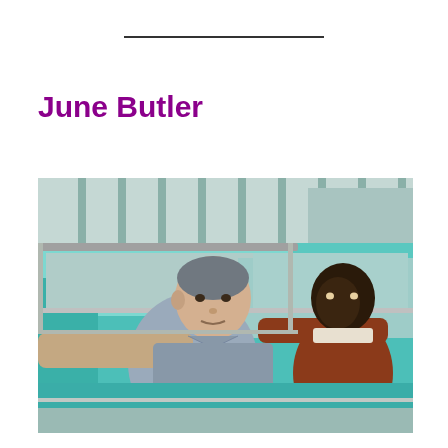June Butler
[Figure (photo): Two men sitting in a vintage teal/turquoise car. The man in the front seat, a white man in a grey short-sleeve shirt, leans his arm out the window and looks back toward the camera. A Black man in a rust/brown sweater sits in the back seat. The setting appears to be a parking lot or roadside location.]